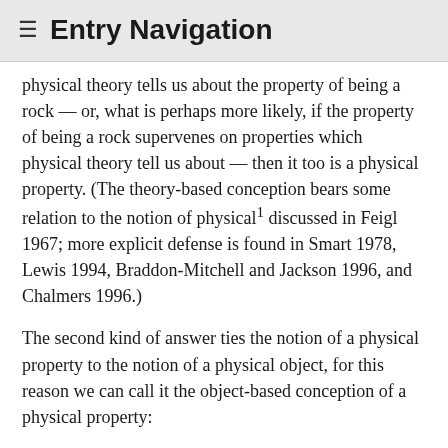≡ Entry Navigation
physical theory tells us about the property of being a rock — or, what is perhaps more likely, if the property of being a rock supervenes on properties which physical theory tell us about — then it too is a physical property. (The theory-based conception bears some relation to the notion of physical1 discussed in Feigl 1967; more explicit defense is found in Smart 1978, Lewis 1994, Braddon-Mitchell and Jackson 1996, and Chalmers 1996.)
The second kind of answer ties the notion of a physical property to the notion of a physical object, for this reason we can call it the object-based conception of a physical property:
The object-based conception: A property is physical iff: it either is the sort of property required by a complete account of the intrinsic nature of paradigmatic physical objects and their constituents or else is a property which metaphysically (or logically) supervenes on the sort of property required by a complete account of the